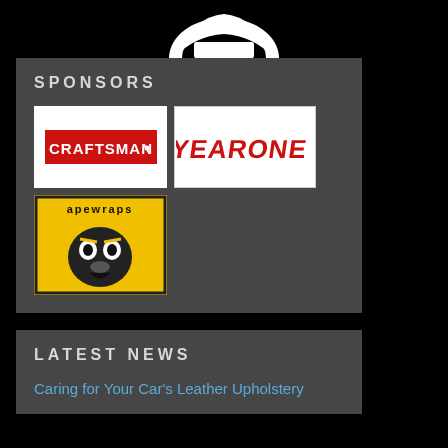[Figure (logo): Partial shield/wing logo at top, white on black background]
SPONSORS
[Figure (logo): Craftsman logo - white background with red banner and white CRAFTSMAN text]
[Figure (logo): Year One logo - white background with red italic YEARONE text]
[Figure (logo): Ape Wraps logo - yellow background with ape face graphic and apewraps text]
LATEST NEWS
Caring for Your Car’s Leather Upholstery